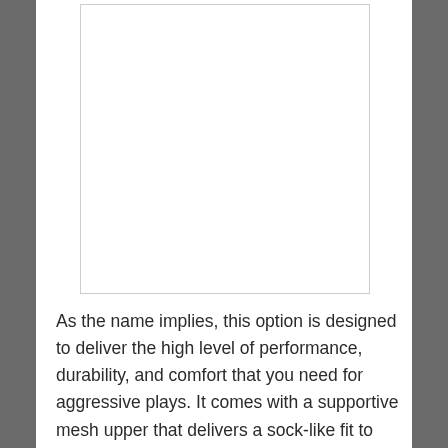[Figure (photo): White rectangular image placeholder with a light gray border]
As the name implies, this option is designed to deliver the high level of performance, durability, and comfort that you need for aggressive plays. It comes with a supportive mesh upper that delivers a sock-like fit to secure your feet comfortably inside the shoe. Once you put the cleats on your feet, you won't have to worry about them falling off.